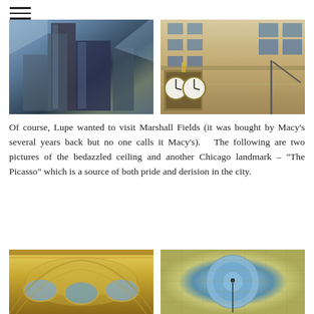[Figure (photo): Hamburger menu icon with three horizontal lines]
[Figure (photo): Two photos side by side: left shows tall glass skyscrapers shot from below against blue sky; right shows ornate historic building facade with decorative clock on corner]
Of course, Lupe wanted to visit Marshall Fields (it was bought by Macy's several years back but no one calls it Macy's).   The following are two pictures of the bedazzled ceiling and another Chicago landmark – "The Picasso" which is a source of both pride and derision in the city.
[Figure (photo): Two photos side by side: left shows ornate golden ceiling with arched oval windows; right shows a mosaic tiled ceiling with a circular blue mosaic design]